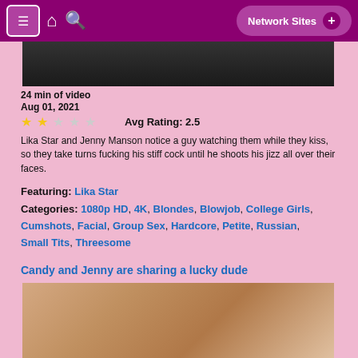Network Sites +
[Figure (photo): Top portion of a video thumbnail (cropped), dark background]
24 min of video
Aug 01, 2021
Avg Rating: 2.5
Lika Star and Jenny Manson notice a guy watching them while they kiss, so they take turns fucking his stiff cock until he shoots his jizz all over their faces.
Featuring: Lika Star
Categories: 1080p HD, 4K, Blondes, Blowjob, College Girls, Cumshots, Facial, Group Sex, Hardcore, Petite, Russian, Small Tits, Threesome
Candy and Jenny are sharing a lucky dude
[Figure (photo): Video thumbnail showing explicit adult content]